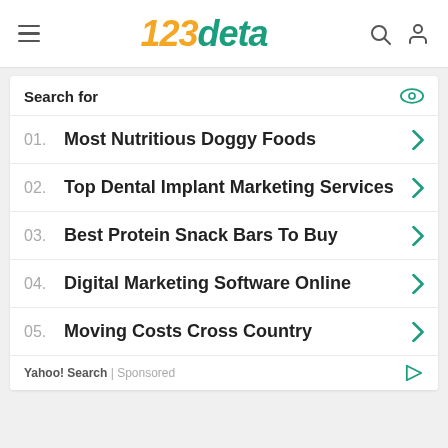123deta
Search for
01. Most Nutritious Doggy Foods
02. Top Dental Implant Marketing Services
03. Best Protein Snack Bars To Buy
04. Digital Marketing Software Online
05. Moving Costs Cross Country
Yahoo! Search | Sponsored